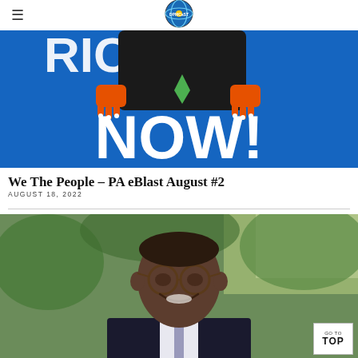DPMCaST logo with hamburger menu
[Figure (illustration): Blue banner/sign with text partially visible reading '...RICH NOW!' with monster claws grasping the sign, black and orange cartoon monster character]
We The People – PA eBlast August #2
AUGUST 18, 2022
[Figure (photo): Portrait photo of a Black man wearing glasses, a dark suit and white shirt, smiling, photographed outdoors with green foliage in background]